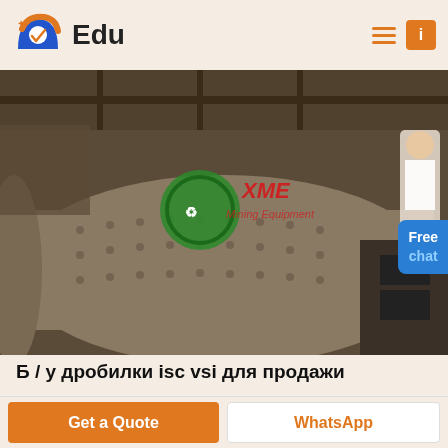Edu
[Figure (photo): Industrial ball mill machine in a factory setting, with XME Mining Equipment logo overlaid in green and red text]
Б / у дробилки isc vsi для продажи
hylik – Organic Dairy Farm HTML Template. б у лыжная дробилка для продажи. б